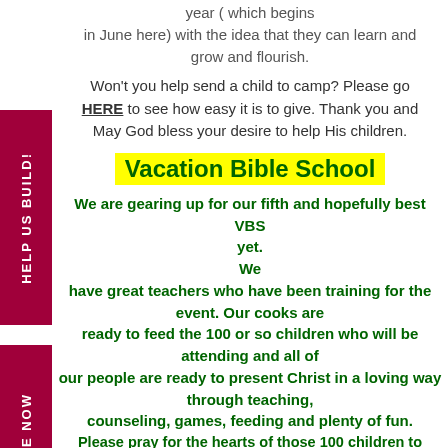year ( which begins in June here) with the idea that they can learn and grow and flourish.
Won't you help send a child to camp? Please go HERE to see how easy it is to give. Thank you and May God bless your desire to help His children.
Vacation Bible School
We are gearing up for our fifth and hopefully best VBS yet. We have great teachers who have been training for the event. Our cooks are ready to feed the 100 or so children who will be attending and all of our people are ready to present Christ in a loving way through teaching, counseling, games, feeding and plenty of fun. Please pray for the hearts of those 100 children to come...